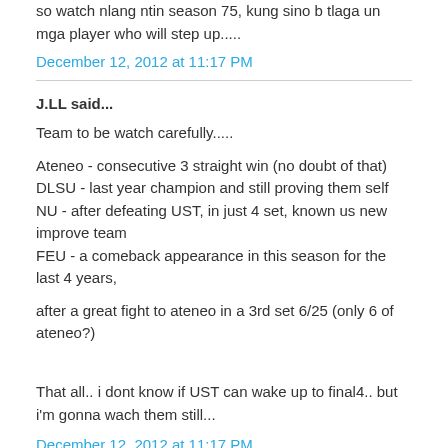so watch nlang ntin season 75, kung sino b tlaga un mga player who will step up.....
December 12, 2012 at 11:17 PM
J.LL said...
Team to be watch carefully.....
Ateneo - consecutive 3 straight win (no doubt of that)
DLSU - last year champion and still proving them self
NU - after defeating UST, in just 4 set, known us new improve team
FEU - a comeback appearance in this season for the last 4 years,
after a great fight to ateneo in a 3rd set 6/25 (only 6 of ateneo?)
That all.. i dont know if UST can wake up to final4.. but i'm gonna wach them still...